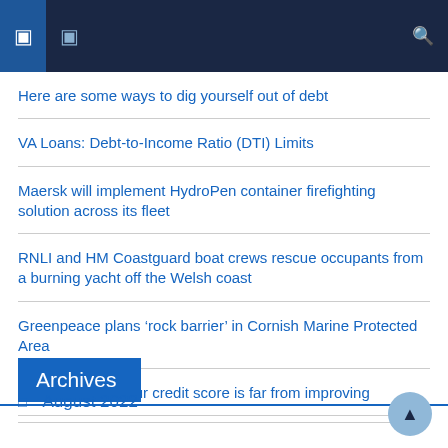Navigation bar with menu icons and search
Here are some ways to dig yourself out of debt
VA Loans: Debt-to-Income Ratio (DTI) Limits
Maersk will implement HydroPen container firefighting solution across its fleet
RNLI and HM Coastguard boat crews rescue occupants from a burning yacht off the Welsh coast
Greenpeace plans ‘rock barrier’ in Cornish Marine Protected Area
4 reasons why your credit score is far from improving
Archives
August 2022